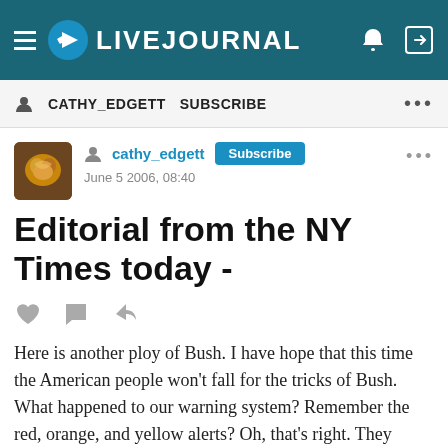LIVEJOURNAL
CATHY_EDGETT   SUBSCRIBE   ...
[Figure (photo): LiveJournal user avatar showing a golden heart-shaped object]
cathy_edgett   Subscribe   ...
June 5 2006, 08:40
Editorial from the NY Times today -
Here is another ploy of Bush.  I have hope that this time the American people won't fall for the tricks of Bush.  What happened to our warning system?   Remember the red, orange, and yellow alerts?   Oh, that's right.  They